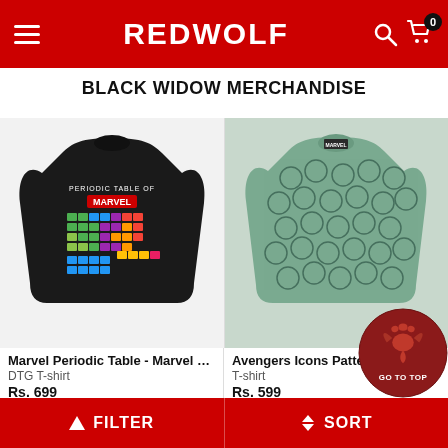REDWOLF
BLACK WIDOW MERCHANDISE
[Figure (photo): Black t-shirt with Periodic Table of Marvel design]
Marvel Periodic Table - Marvel Offic...
DTG T-shirt
Rs. 699
[Figure (photo): Teal/green t-shirt with Avengers Icons Pattern all-over print]
Avengers Icons Pattern - Marvel O...
T-shirt
Rs. 599
[Figure (photo): Partial view of grey/white t-shirt (bottom row, left)]
[Figure (photo): Partial view of grey/white t-shirt (bottom row, right)]
[Figure (logo): Go To Top button with dragon logo]
FILTER   SORT